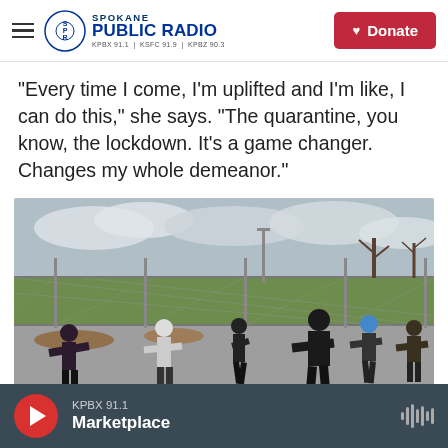Spokane Public Radio — KPBX 91.1 | KSFC 91.9 | KPBZ 90.3 — Donate
"Every time I come, I'm uplifted and I'm like, I can do this," she says. "The quarantine, you know, the lockdown. It's a game changer. Changes my whole demeanor."
[Figure (photo): Outdoor group exercise class with several people in winter clothing doing martial arts or fitness moves on a paved area near a chain-link fence, with bare trees and cloudy sky in the background.]
KPBX 91.1 — Marketplace